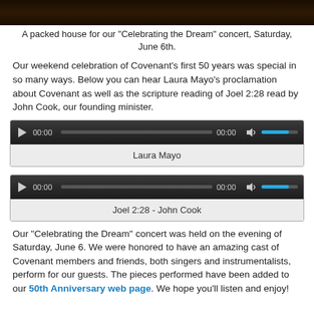[Figure (photo): Dark photograph of a packed concert hall, partially visible at top of page]
A packed house for our "Celebrating the Dream" concert, Saturday, June 6th.
Our weekend celebration of Covenant's first 50 years was special in so many ways. Below you can hear Laura Mayo's proclamation about Covenant as well as the scripture reading of Joel 2:28 read by John Cook, our founding minister.
[Figure (screenshot): Audio player widget with play button, time display showing 00:00, progress bar, volume control with blue fill bar. Label: Laura Mayo]
[Figure (screenshot): Audio player widget with play button, time display showing 00:00, progress bar, volume control with blue fill bar. Label: Joel 2:28 - John Cook]
Our "Celebrating the Dream" concert was held on the evening of Saturday, June 6. We were honored to have an amazing cast of Covenant members and friends, both singers and instrumentalists, perform for our guests. The pieces performed have been added to our 50th Anniversary web page. We hope you'll listen and enjoy!